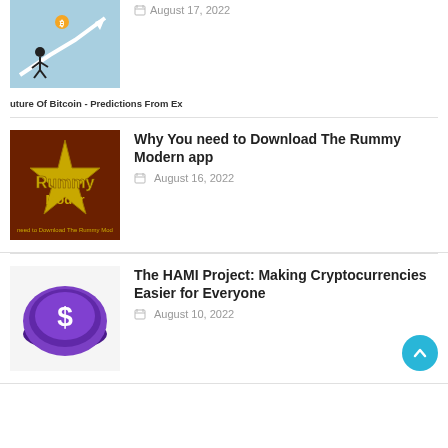[Figure (illustration): Bitcoin prediction article thumbnail showing a person pushing a rising arrow chart with a bitcoin coin on top, blue background]
uture Of Bitcoin - Predictions From Ex
August 17, 2022
[Figure (illustration): Rummy Modern app logo - gold star with Rummy Moder text on dark brown/red background]
Why You need to Download The Rummy Modern app
August 16, 2022
[Figure (illustration): Purple coin with dollar sign - HAMI Project cryptocurrency illustration]
The HAMI Project: Making Cryptocurrencies Easier for Everyone
August 10, 2022